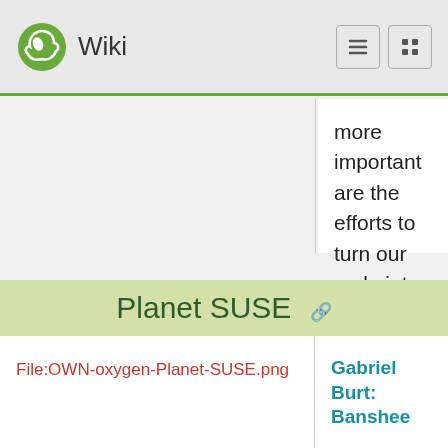Wiki
more important are the efforts to turn our code into programming system products: fixing bugs, testing it, packaging it, supporting it, writing documentation, test suites, improving error handling, scaling the software, making it faster, slimmer and backporting bug fixes."
Planet SUSE
File:OWN-oxygen-Planet-SUSE.png
Gabriel Burt: Banshee